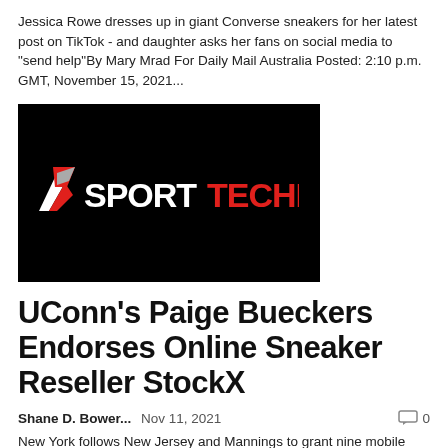Jessica Rowe dresses up in giant Converse sneakers for her latest post on TikTok - and daughter asks her fans on social media to "send help"By Mary Mrad For Daily Mail Australia Posted: 2:10 p.m. GMT, November 15, 2021...
[Figure (logo): SportTechie logo — white and red text on black background with a stylized shoe/wing icon in red and white]
UConn's Paige Bueckers Endorses Online Sneaker Reseller StockX
Shane D. Bower...   Nov 11, 2021   0
New York follows New Jersey and Mannings to grant nine mobile